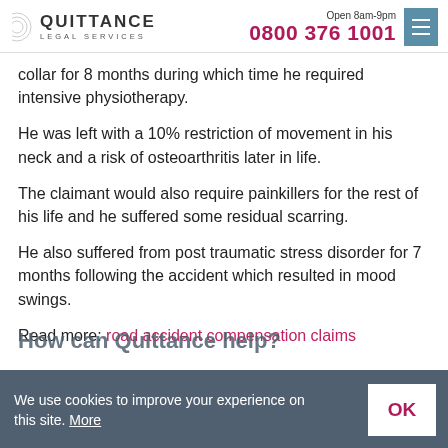QUITTANCE LEGAL SERVICES | Open 8am-9pm | 0800 376 1001
collar for 8 months during which time he required intensive physiotherapy.
He was left with a 10% restriction of movement in his neck and a risk of osteoarthritis later in life.
The claimant would also require painkillers for the rest of his life and he suffered some residual scarring.
He also suffered from post traumatic stress disorder for 7 months following the accident which resulted in mood swings.
Read more: road accident compensation claims
How can Quittance help?
We use cookies to improve your experience on this site. More